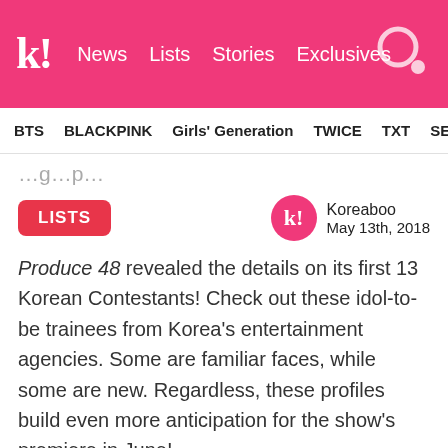k! News Lists Stories Exclusives
BTS BLACKPINK Girls' Generation TWICE TXT SEVE
…g…p…
LISTS
Koreaboo May 13th, 2018
Produce 48 revealed the details on its first 13 Korean Contestants! Check out these idol-to-be trainees from Korea's entertainment agencies. Some are familiar faces, while some are new. Regardless, these profiles build even more anticipation for the show's premiere in June!
1. Lee Seung Hyeon – WM Entertainment